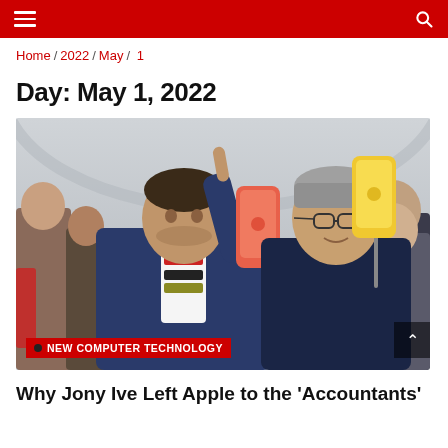Navigation bar with hamburger menu and search icon
Home / 2022 / May / 1
Day: May 1, 2022
[Figure (photo): Two men at an Apple product event. The man on the left in a blue jacket and patterned shirt points upward while holding a coral/red iPhone XR. The man on the right in a dark blue shirt holds a yellow iPhone XR. Several people are visible in the background.]
Why Jony Ive Left Apple to the 'Accountants'